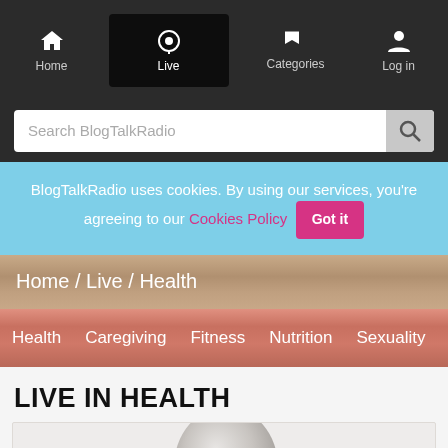Home | Live | Categories | Log in
Search BlogTalkRadio
BlogTalkRadio uses cookies. By using our services, you're agreeing to our Cookies Policy  Got it
Home / Live / Health
Health   Caregiving   Fitness   Nutrition   Sexuality   Weight Los
LIVE IN HEALTH
[Figure (illustration): 3D rendered white mannequin head in profile/three-quarter view on a light gray background]